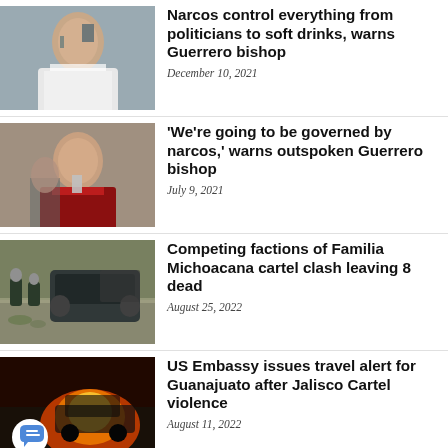[Figure (photo): Catholic bishop in white vestments speaking at a podium]
Narcos control everything from politicians to soft drinks, warns Guerrero bishop
December 10, 2021
[Figure (photo): Catholic bishop in red vestments speaking into a microphone]
‘We’re going to be governed by narcos,’ warns outspoken Guerrero bishop
July 9, 2021
[Figure (photo): Armed officers at a roadside crime scene with a dark SUV]
Competing factions of Familia Michoacana cartel clash leaving 8 dead
August 25, 2022
[Figure (photo): Burning vehicle at night with orange flames]
US Embassy issues travel alert for Guanajuato after Jalisco Cartel violence
August 11, 2022